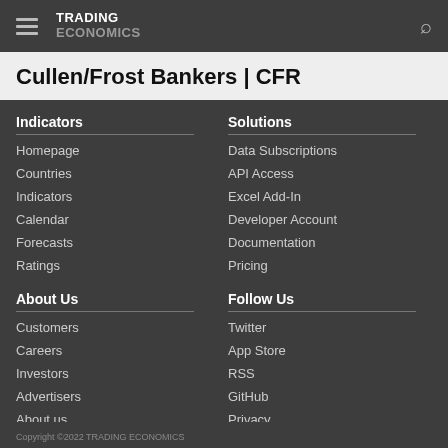TRADING ECONOMICS
Cullen/Frost Bankers | CFR
Indicators
Homepage
Countries
Indicators
Calendar
Forecasts
Ratings
Solutions
Data Subscriptions
API Access
Excel Add-In
Developer Account
Documentation
Pricing
About Us
Customers
Careers
Investors
Advertisers
About us
Follow Us
Twitter
App Store
RSS
GitHub
Privacy
Copyright ©2022 TRADING ECONOMICS